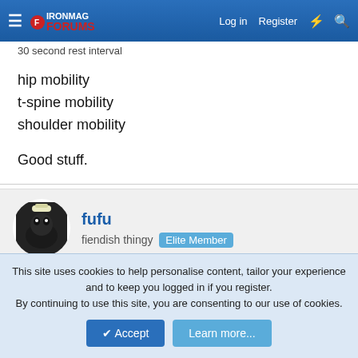IronMag Forums — Log in | Register
30 second rest interval
hip mobility
t-spine mobility
shoulder mobility
Good stuff.
fufu — fiendish thingy — Elite Member
Jul 30, 2022   #8,878
Today -
This site uses cookies to help personalise content, tailor your experience and to keep you logged in if you register.
By continuing to use this site, you are consenting to our use of cookies.